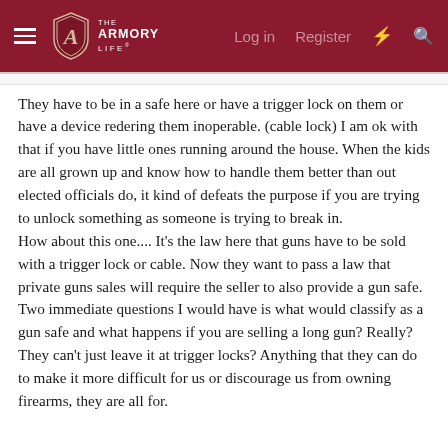The Armory Life — Log in  Register
They have to be in a safe here or have a trigger lock on them or have a device redering them inoperable. (cable lock) I am ok with that if you have little ones running around the house. When the kids are all grown up and know how to handle them better than out elected officials do, it kind of defeats the purpose if you are trying to unlock something as someone is trying to break in.
How about this one.... It's the law here that guns have to be sold with a trigger lock or cable. Now they want to pass a law that private guns sales will require the seller to also provide a gun safe. Two immediate questions I would have is what would classify as a gun safe and what happens if you are selling a long gun? Really? They can't just leave it at trigger locks? Anything that they can do to make it more difficult for us or discourage us from owning firearms, they are all for.